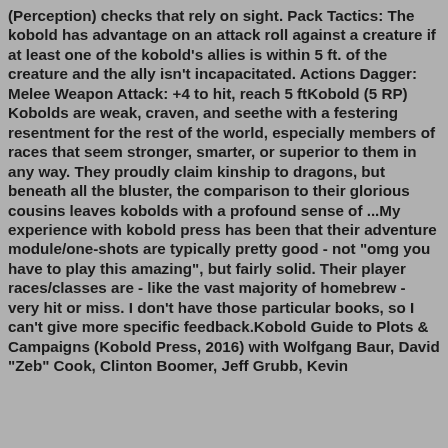(Perception) checks that rely on sight. Pack Tactics: The kobold has advantage on an attack roll against a creature if at least one of the kobold's allies is within 5 ft. of the creature and the ally isn't incapacitated. Actions Dagger: Melee Weapon Attack: +4 to hit, reach 5 ftKobold (5 RP) Kobolds are weak, craven, and seethe with a festering resentment for the rest of the world, especially members of races that seem stronger, smarter, or superior to them in any way. They proudly claim kinship to dragons, but beneath all the bluster, the comparison to their glorious cousins leaves kobolds with a profound sense of ...My experience with kobold press has been that their adventure module/one-shots are typically pretty good - not "omg you have to play this amazing", but fairly solid. Their player races/classes are - like the vast majority of homebrew - very hit or miss. I don't have those particular books, so I can't give more specific feedback.Kobold Guide to Plots & Campaigns (Kobold Press, 2016) with Wolfgang Baur, David "Zeb" Cook, Clinton Boomer, Jeff Grubb, Kevin